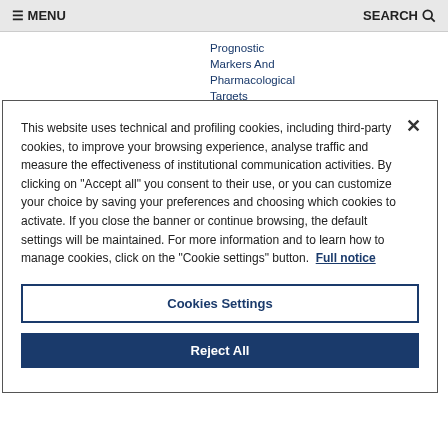≡ MENU    SEARCH 🔍
Prognostic Markers And Pharmacological Targets
This website uses technical and profiling cookies, including third-party cookies, to improve your browsing experience, analyse traffic and measure the effectiveness of institutional communication activities. By clicking on "Accept all" you consent to their use, or you can customize your choice by saving your preferences and choosing which cookies to activate. If you close the banner or continue browsing, the default settings will be maintained. For more information and to learn how to manage cookies, click on the "Cookie settings" button.  Full notice
Cookies Settings
Reject All